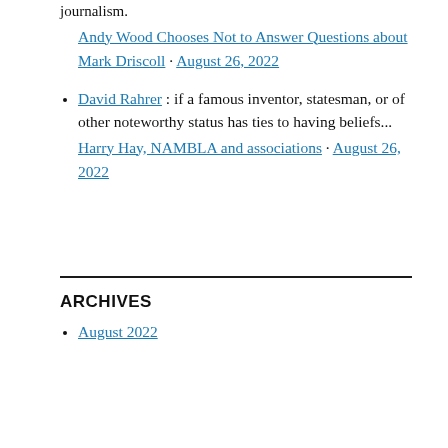journalism.
Andy Wood Chooses Not to Answer Questions about Mark Driscoll · August 26, 2022
David Rahrer : if a famous inventor, statesman, or of other noteworthy status has ties to having beliefs... Harry Hay, NAMBLA and associations · August 26, 2022
ARCHIVES
August 2022